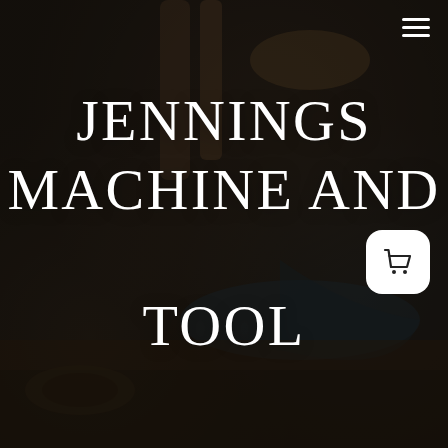[Figure (photo): Dark moody workshop background photo showing industrial machinery and tools with dark overlay]
JENNINGS MACHINE AND TOOL